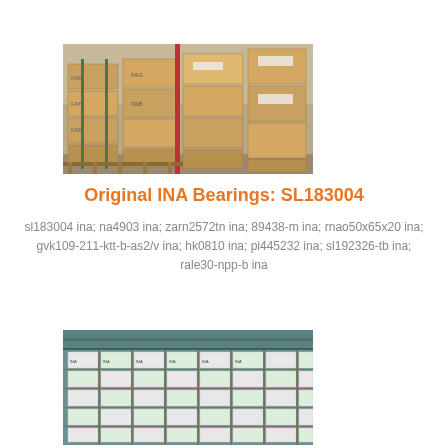[Figure (photo): Warehouse shelves stacked with cardboard boxes branded FAB/FAG bearings on wooden pallets]
Original INA Bearings: SL183004
sl183004 ina; na4903 ina; zarn2572tn ina; 89438-m ina; rnao50x65x20 ina; gvk109-211-ktt-b-as2/v ina; hk0810 ina; pi445232 ina; sl192326-tb ina; rale30-npp-b ina
[Figure (photo): Warehouse shelving with rows of boxed bearings/cylindrical parts stacked from floor to ceiling]